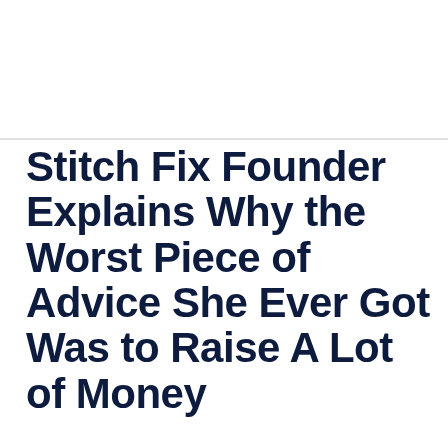Stitch Fix Founder Explains Why the Worst Piece of Advice She Ever Got Was to Raise A Lot of Money
Katrina Lake shares why having too much VC money can be a bad thing for the long term growth of your business.
By  Nina Zipkin